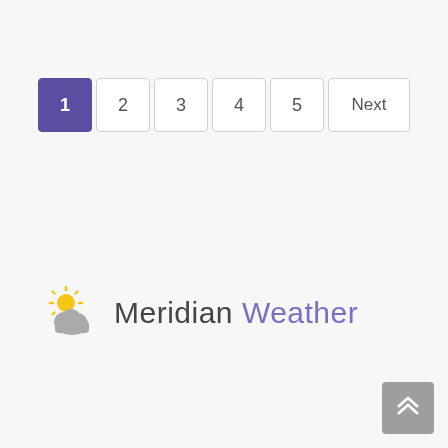[Figure (other): Pagination controls with buttons numbered 1–5 and a Next button. Button 1 is active with purple background.]
[Figure (logo): Meridian Weather logo: partly cloudy weather icon (sun behind cloud) with text 'Meridian Weather' where 'Weather' is in purple/violet color.]
[Figure (other): Back to top button: grey rounded square with double up-arrow chevron icon, positioned bottom-right corner.]